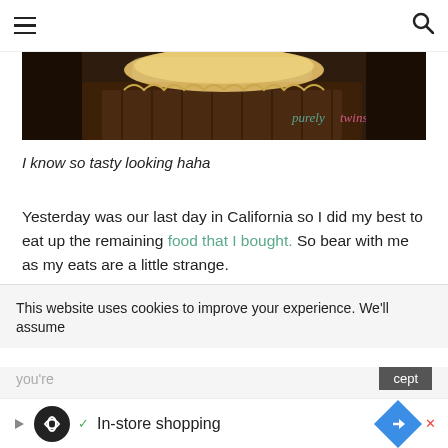Navigation header with hamburger menu and search icon
[Figure (photo): Close-up photo of a cupcake or baked good with chocolate bottom and yellow top, with 'purely' watermark text visible in teal/pink on the right side]
I know so tasty looking haha
Yesterday was our last day in California so I did my best to eat up the remaining food that I bought. So bear with me as my eats are a little strange.
This website uses cookies to improve your experience. We'll assume you're ... cept | In-store shopping (advertisement)